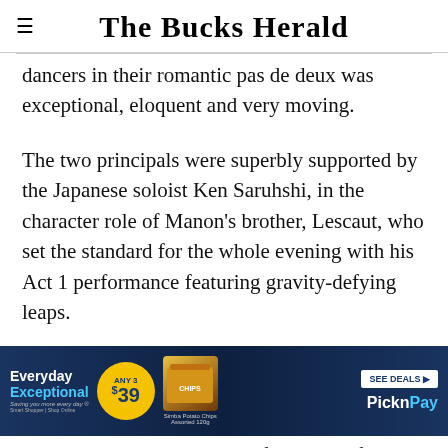The Bucks Herald
dancers in their romantic pas de deux was exceptional, eloquent and very moving.
The two principals were superbly supported by the Japanese soloist Ken Saruhshi, in the character role of Manon's brother, Lescaut, who set the standard for the whole evening with his Act 1 performance featuring gravity-defying leaps.
[Figure (other): Advertisement banner for Pick n Pay Everyday Exceptional deals: Any 3 for $39, featuring Simba Potato Chips Assorted 120g]
Indee... congratulated on a performance of the highest